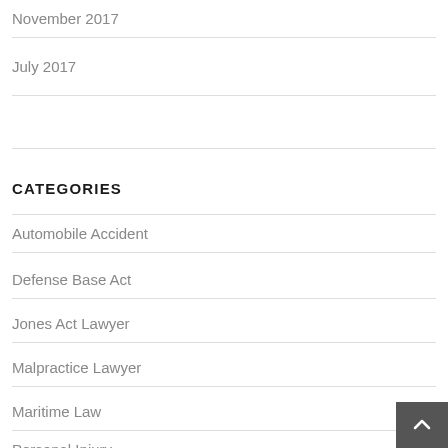November 2017
July 2017
CATEGORIES
Automobile Accident
Defense Base Act
Jones Act Lawyer
Malpractice Lawyer
Maritime Law
Personal Injury